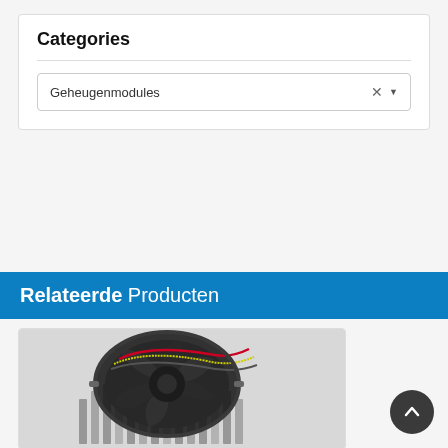Categories
Geheugenmodules
Relateerde Producten
[Figure (photo): CPU cooler / fan with dark blades and colorful wiring, viewed from front-top angle]